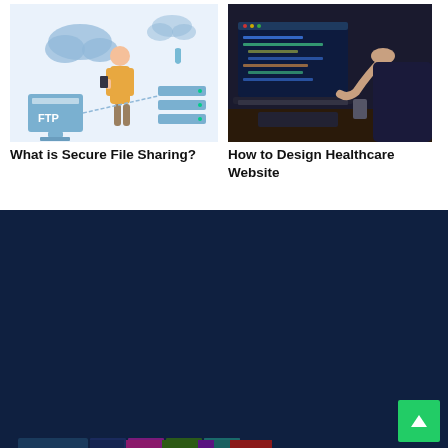[Figure (illustration): FTP secure file sharing illustration showing a person with cloud, FTP server, shield and storage icons]
What is Secure File Sharing?
[Figure (photo): Photo of person pointing at laptop screen showing code in a dark room]
How to Design Healthcare Website
[Figure (logo): intHow logo with colorful rectangular panels spelling INTHOW with wing icon]
intHow is one of the most popular and leading online news website which publishes gadgets, technology, internet, smartphones related news on daily basis.
Contact us: mail@inthow.com
Read More...